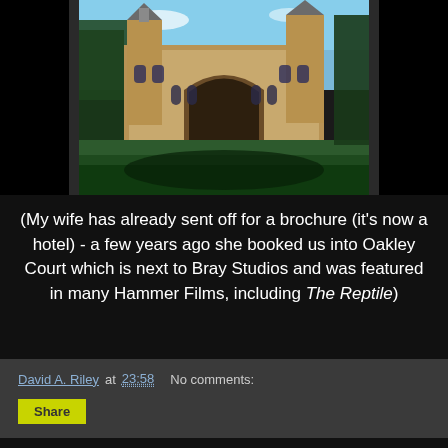[Figure (photo): A large Victorian Gothic stone building with towers and arched entrance, set against a blue sky with green lawn in front. Black sidebars frame the image.]
(My wife has already sent off for a brochure (it's now a hotel) - a few years ago she booked us into Oakley Court which is next to Bray Studios and was featured in many Hammer Films, including The Reptile)
David A. Riley at 23:58    No comments:
Share